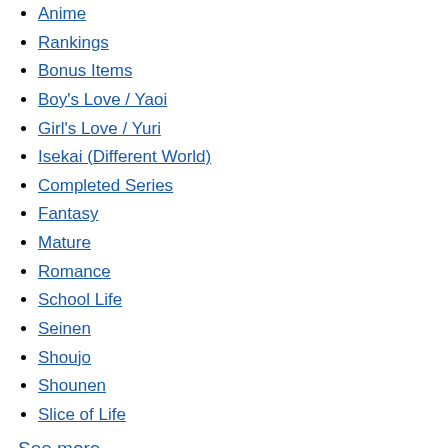Anime
Rankings
Bonus Items
Boy's Love / Yaoi
Girl's Love / Yuri
Isekai (Different World)
Completed Series
Fantasy
Mature
Romance
School Life
Seinen
Shoujo
Shounen
Slice of Life
See more
Publishers
Dark Horse Comics
J-Novel Club
Kodansha
One Peace Books
Seven Seas Entertainment
UDON